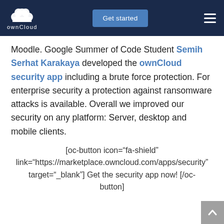ownCloud — Get started
Moodle. Google Summer of Code Student Semih Serhat Karakaya developed the ownCloud security app including a brute force protection. For enterprise security a protection against ransomware attacks is available. Overall we improved our security on any platform: Server, desktop and mobile clients.
[oc-button icon="fa-shield" link="https://marketplace.owncloud.com/apps/security" target="_blank"] Get the security app now! [/oc-button]